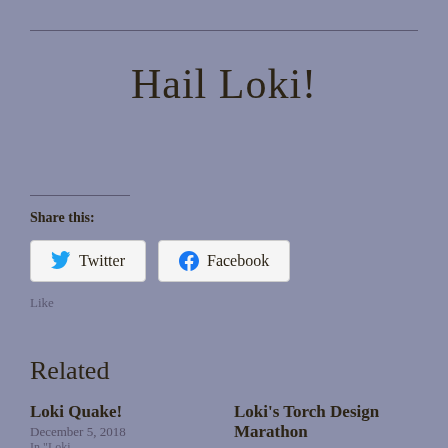Hail Loki!
Share this:
Twitter  Facebook
Related
Loki Quake!
December 5, 2018
Loki's Torch Design Marathon